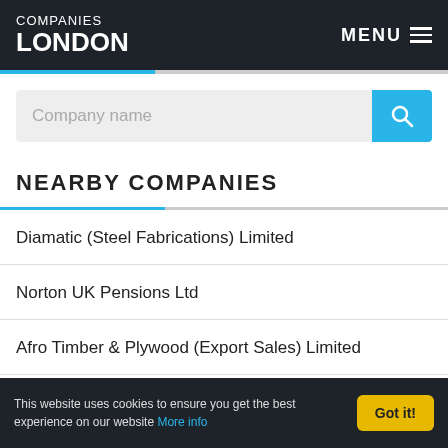COMPANIES LONDON  MENU
Company name
NEARBY COMPANIES
Diamatic (Steel Fabrications) Limited
Norton UK Pensions Ltd
Afro Timber & Plywood (Export Sales) Limited
Ferguson & Company (Kendal) Limited
This website uses cookies to ensure you get the best experience on our website More info  Got it!